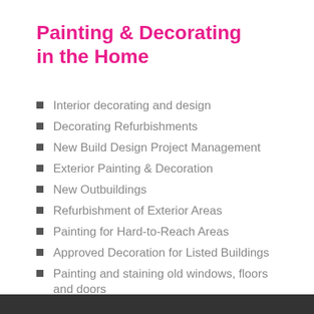Painting & Decorating in the Home
Interior decorating and design
Decorating Refurbishments
New Build Design Project Management
Exterior Painting & Decoration
New Outbuildings
Refurbishment of Exterior Areas
Painting for Hard-to-Reach Areas
Approved Decoration for Listed Buildings
Painting and staining old windows, floors and doors
Maintenance & Repairs